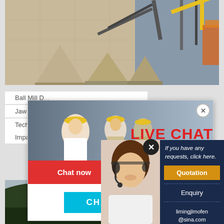[Figure (illustration): Industrial facility illustration with conveyor equipment, cranes, and cone-shaped aggregate hoppers on a tiled floor background]
Ball Mill D...
Jaw Crus...
Technolo...
Impact Crusher And Double Roll Crusher. Fine Gold C...
[Figure (screenshot): Live Chat popup overlay with workers in yellow hard hats, LIVE CHAT heading in red, 'Click for a Free Consultation' text, Chat now (red) and Chat later (dark) buttons, and CHAT ONLINE button in cyan]
[Figure (photo): Customer service representative with headset smiling, with close X button and right sidebar panel showing Quotation (orange), Enquiry, and limingjlmofen@sina.com contact]
If you have any requests, click here.
Quotation
Enquiry
limingjlmofen@sina.com
[Figure (photo): Landscape photo showing dark green forested hills or mountains at bottom of page]